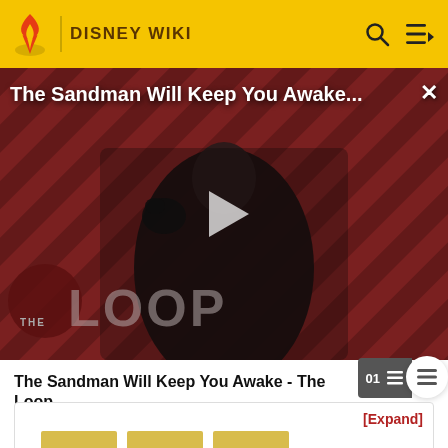DISNEY WIKI
[Figure (screenshot): Video thumbnail for 'The Sandman Will Keep You Awake - The Loop' showing a dark-cloaked figure with a raven on a red and black striped background, with The Loop logo, a play button overlay, and video title text.]
The Sandman Will Keep You Awake - The Loop
[Expand]